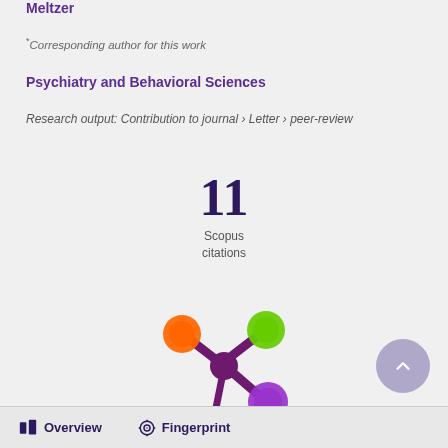Meltzer
*Corresponding author for this work
Psychiatry and Behavioral Sciences
Research output: Contribution to journal › Letter › peer-review
11
Scopus
citations
[Figure (logo): Altmetric logo — a purple splat shape with orange, green, and purple circles at the ends of three arms]
Overview   Fingerprint